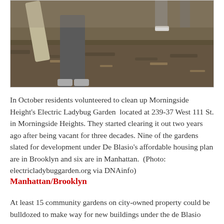[Figure (photo): Photo of a person standing in a mulched garden area, carrying a large piece of wood or concrete. Other people visible in background. Outdoor community garden setting with wood chip ground cover.]
In October residents volunteered to clean up Morningside Height's Electric Ladybug Garden  located at 239-37 West 111 St. in Morningside Heights. They started clearing it out two years ago after being vacant for three decades. Nine of the gardens slated for development under De Blasio's affordable housing plan are in Brooklyn and six are in Manhattan.  (Photo: electricladybuggarden.org via DNAinfo)
Manhattan/Brooklyn
At least 15 community gardens on city-owned property could be bulldozed to make way for new buildings under the de Blasio